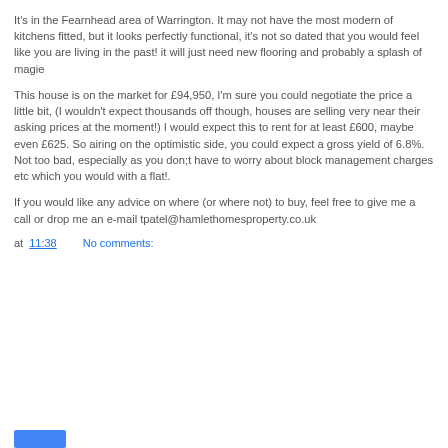It's in the Fearnhead area of Warrington. It may not have the most modern of kitchens fitted, but it looks perfectly functional, it's not so dated that you would feel like you are living in the past! it will just need new flooring and probably a splash of magie
This house is on the market for £94,950, I'm sure you could negotiate the price a little bit, (I wouldn't expect thousands off though, houses are selling very near their asking prices at the moment!) I would expect this to rent for at least £600, maybe even £625. So airing on the optimistic side, you could expect a gross yield of 6.8%. Not too bad, especially as you don;t have to worry about block management charges etc which you would with a flat!.
If you would like any advice on where (or where not) to buy, feel free to give me a call or drop me an e-mail tpatel@hamlethomesproperty.co.uk
at 11:38    No comments: